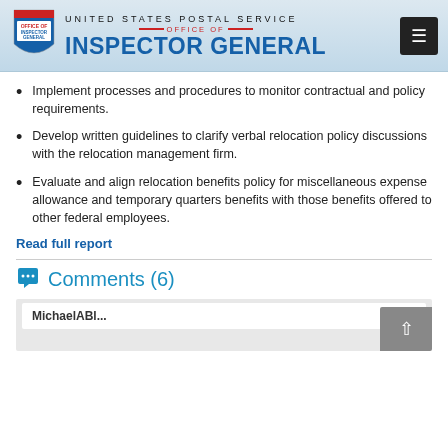UNITED STATES POSTAL SERVICE OFFICE OF INSPECTOR GENERAL
Implement processes and procedures to monitor contractual and policy requirements.
Develop written guidelines to clarify verbal relocation policy discussions with the relocation management firm.
Evaluate and align relocation benefits policy for miscellaneous expense allowance and temporary quarters benefits with those benefits offered to other federal employees.
Read full report
Comments (6)
MichaelABl...